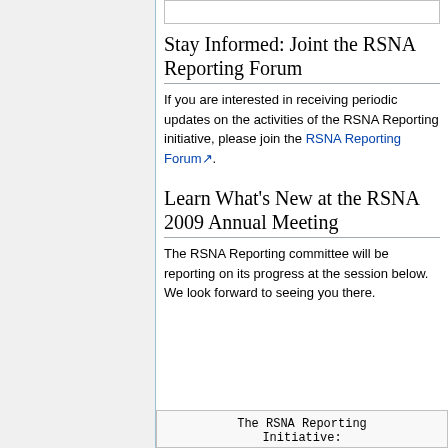Stay Informed: Joint the RSNA Reporting Forum
If you are interested in receiving periodic updates on the activities of the RSNA Reporting initiative, please join the RSNA Reporting Forum.
Learn What's New at the RSNA 2009 Annual Meeting
The RSNA Reporting committee will be reporting on its progress at the session below. We look forward to seeing you there.
The RSNA Reporting Initiative: